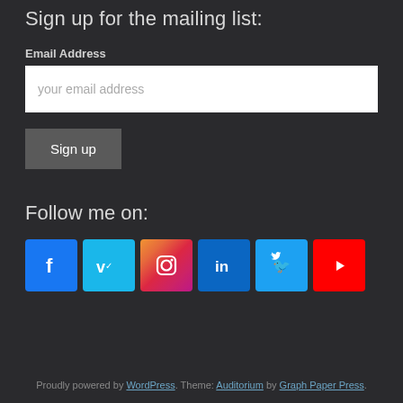Sign up for the mailing list:
Email Address
your email address
Sign up
Follow me on:
[Figure (infographic): Social media icons row: Facebook (blue), Vimeo (light blue), Instagram (gradient pink/red), LinkedIn (dark blue), Twitter (light blue), YouTube (red)]
Proudly powered by WordPress. Theme: Auditorium by Graph Paper Press.